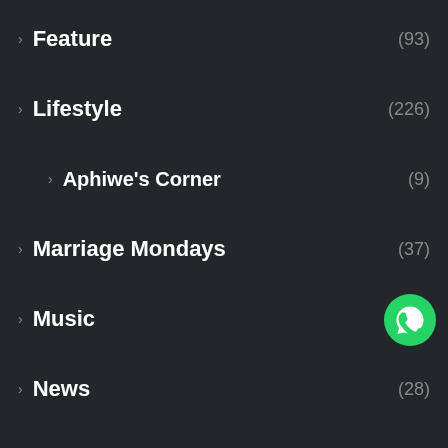> Feature (93)
> Lifestyle (226)
> Aphiwe's Corner (9)
> Marriage Mondays (37)
> Music (277)
> News (28)